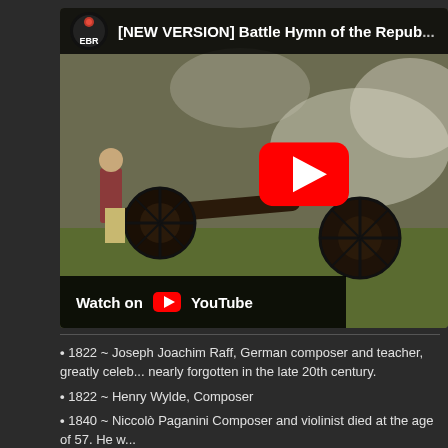[Figure (screenshot): YouTube video thumbnail showing a Revolutionary War reenactment scene with cannons and soldiers, with a large red play button overlay. Video title: [NEW VERSION] Battle Hymn of the Republic. EBR channel logo shown in top bar. 'Watch on YouTube' button visible at bottom left of video.]
1822 ~ Joseph Joachim Raff, German composer and teacher, greatly celeb... nearly forgotten in the late 20th century.
1822 ~ Henry Wylde, Composer
1840 ~ Niccolò Paganini Composer and violinist died at the age of 57. He w...